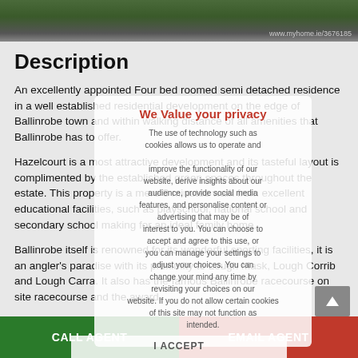[Figure (photo): Top photo strip showing green grass and dark road/path, with watermark text 'www.myhome.ie/3676185' at bottom right]
Description
An excellently appointed Four bed roomed semi detached residence in a well established residential development on the edge of Ballinrobe town and within walking distance of all amenities that Ballinrobe has to offer.
Hazelcourt is a most attractive development and its tasteful layout is complimented by the established green spaces throughout the estate. This property is a mere 3 minutes walk from excellent educational facilities, such as playschool, national school and secondary school making for an ideal family home.
Ballinrobe itself is renowned for its wonderful sporting facilities, it is an angler's paradise with its proximity to Lough Mask, Lough Corrib and Lough Carra. It also has the famous Ballinrobe racecourse on site racecourse and the award
We Value your privacy

The use of technology such as cookies allows us to operate and improve the functionality of our website, derive insights about our audience, provide social media features, and personalise content or advertising that may be of interest to you. You can choose to accept and agree to this use, or you can manage your settings to adjust your choices. You can change your mind any time by revisiting your choices on our website. If you do not allow certain cookies the use of this site may not function as intended.
I ACCEPT
CALL AGENT
EMAIL AGENT